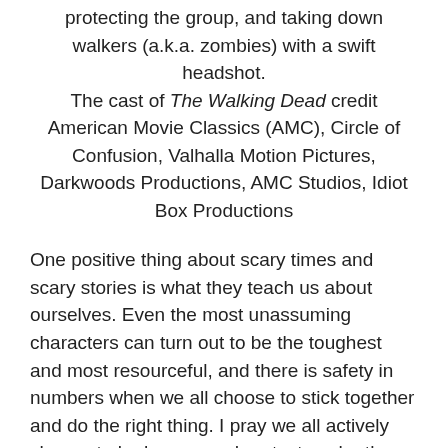protecting the group, and taking down walkers (a.k.a. zombies) with a swift headshot. The cast of The Walking Dead credit American Movie Classics (AMC), Circle of Confusion, Valhalla Motion Pictures, Darkwoods Productions, AMC Studios, Idiot Box Productions
One positive thing about scary times and scary stories is what they teach us about ourselves. Even the most unassuming characters can turn out to be the toughest and most resourceful, and there is safety in numbers when we all choose to stick together and do the right thing. I pray we all actively choose to be heroes and protect each other, because our lives just may depend on it. I desperately want us all to dance together next year during Bristol Rhythm & Roots Reunion on State Street without masks and without the threat of COVID-19. Even scary stories sometimes have happy endings, and after all we've been through in 2020, I think we deserve one.